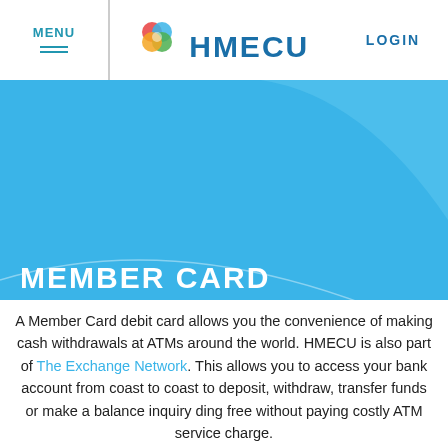MENU | HMECU | LOGIN
[Figure (logo): HMECU logo with colorful circular emblem and HMECU text]
MEMBER CARD
A Member Card debit card allows you the convenience of making cash withdrawals at ATMs around the world. HMECU is also part of The Exchange Network. This allows you to access your bank account from coast to coast to deposit, withdraw, transfer funds or make a balance inquiry ding free without paying costly ATM service charge.